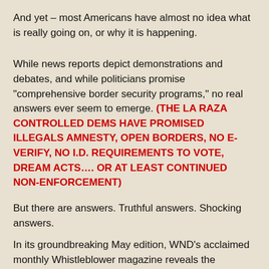And yet – most Americans have almost no idea what is really going on, or why it is happening.
While news reports depict demonstrations and debates, and while politicians promise "comprehensive border security programs," no real answers ever seem to emerge. (THE LA RAZA CONTROLLED DEMS HAVE PROMISED ILLEGALS AMNESTY, OPEN BORDERS, NO E-VERIFY, NO I.D. REQUIREMENTS TO VOTE, DREAM ACTS…. OR AT LEAST CONTINUED NON-ENFORCEMENT)
But there are answers. Truthful answers. Shocking answers.
In its groundbreaking May edition, WND's acclaimed monthly Whistleblower magazine reveals the astounding hidden agendas, plans and people behind America's immigration nightmare.
Titled "ALIEN NATION," the issue is subtitled "SECRETS OF THE INVASION: Why government invites rampant illegal immigration." Indeed, it reveals pivotal secrets very few